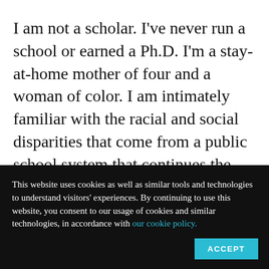I am not a scholar. I've never run a school or earned a Ph.D. I'm a stay-at-home mother of four and a woman of color. I am intimately familiar with the racial and social disparities that come from a public school system that continues the legacies of segregation and table-scraps education.
This website uses cookies as well as similar tools and technologies to understand visitors' experiences. By continuing to use this website, you consent to our usage of cookies and similar technologies, in accordance with our cookie policy.